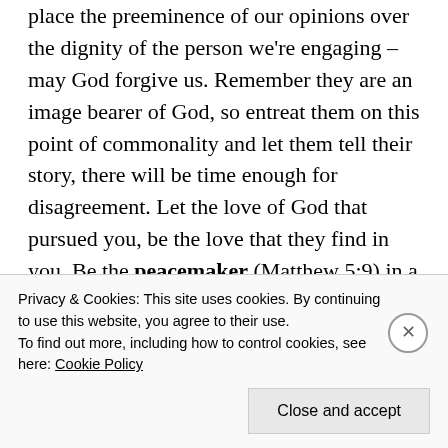place the preeminence of our opinions over the dignity of the person we're engaging – may God forgive us. Remember they are an image bearer of God, so entreat them on this point of commonality and let them tell their story, there will be time enough for disagreement. Let the love of God that pursued you, be the love that they find in you. Be the peacemaker (Matthew 5:9) in a world bent on violently imposing its will – because in one way or another, we are all refugees, seeking peace…  so may the peace that is God's presence
Privacy & Cookies: This site uses cookies. By continuing to use this website, you agree to their use.
To find out more, including how to control cookies, see here: Cookie Policy
Close and accept